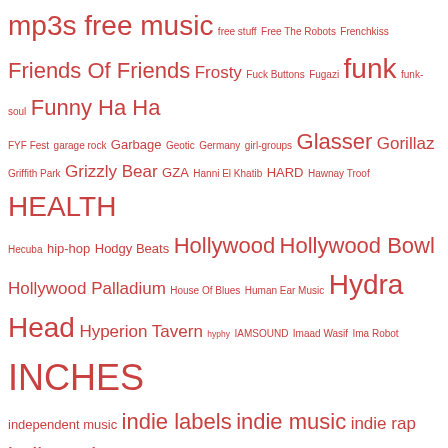mp3s free music free stuff Free The Robots Frenchkiss Friends Of Friends Frosty Fuck Buttons Fugazi funk funk-soul Funny Ha Ha FYF Fest garage rock Garbage Geotic Germany girl-groups Glasser Gorillaz Griffith Park Grizzly Bear GZA Hanni El Khatib HARD Hawnay Troof HEALTH Hecuba hip-hop Hodgy Beats Hollywood Hollywood Bowl Hollywood Palladium House Of Blues Human Ear Music Hydra Head Hyperion Tavern hyphy IAMSOUND Imaad Wasif Ima Robot INCHES independent music indie labels indie music indie rap indie rock Innovative Leisure Interscope Inventory J.Rocc Jack White James Blake James Murphy Jamie Lidell Jay-Z Jay Farrar J Dilla Jeans Wilder Jeff Weiss Jenny Lewis Jesse Miller Jogger John Janick Julia Holter Jump Clubb Jurassic 5 Justin Bieber Justin Gage Justin Timberlake Kanye West Kendrick Lamar Kid Cudi Kill Shaman Koushik KPCC Krautrock Kurt Vile Kutmah L.A. beat scene L.A. Reid Lady Gaga Lala LCD Soundsystem leaks Leaving Records Left Brain Le Switch Liars Lil B Lil Wayne Lincoln Heights Lissie Little Dragon Live Music lo-fi Local